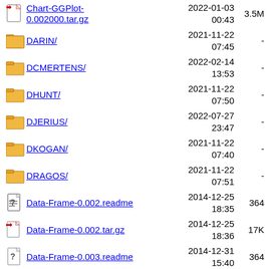Chart-GGPlot-0.002000.tar.gz  2022-01-03 00:43  3.5M
DARIN/  2021-11-22 07:45  -
DCMERTENS/  2022-02-14 13:53  -
DHUNT/  2021-11-22 07:50  -
DJERIUS/  2022-07-27 23:47  -
DKOGAN/  2021-11-22 07:40  -
DRAGOS/  2021-11-22 07:51  -
Data-Frame-0.002.readme  2014-12-25 18:35  364
Data-Frame-0.002.tar.gz  2014-12-25 18:36  17K
Data-Frame-0.003.readme  2014-12-31 15:40  364
Data-Frame-0.003.tar.gz  2014-12-31 15:41  19K
Data-Frame-  2022-01-03  389